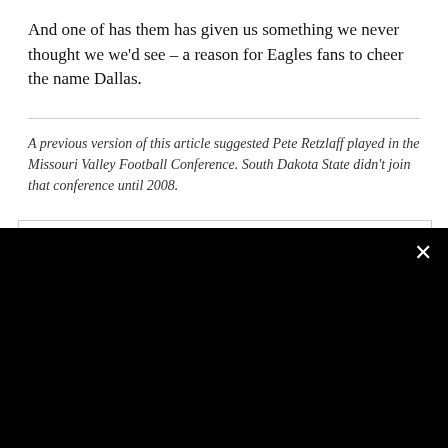And one of has them has given us something we never thought we we'd see – a reason for Eagles fans to cheer the name Dallas.
A previous version of this article suggested Pete Retzlaff played in the Missouri Valley Football Conference. South Dakota State didn't join that conference until 2008.
[Figure (other): The Billy Penn newsletter signup modal with black background, Billy Penn logo (white silhouette of man with hat in circle), email input field, and yellow GET IT button]
The Billy Penn newsletter
All things Philly, delivered daily
Enter your email
GET IT